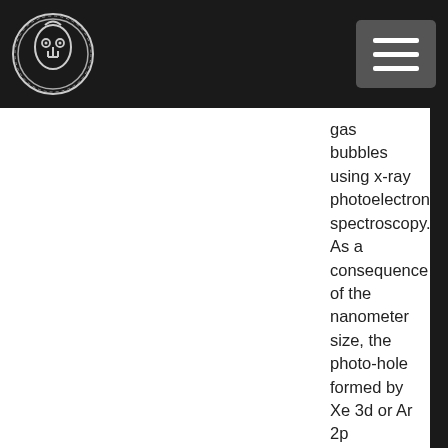[Logo and navigation header]
gas bubbles using x-ray photoelectron spectroscopy. As a consequence of the nanometer size, the photo-hole formed by Xe 3d or Ar 2p photoemission is screened by the A1 conduction electrons, which substantially lowers their binding energy compared to the gas phase [1,2]. As the bubble size increases, the A1 conduction electron screening decreases and the binding energy increases. Ne 1s spectra unexpectedly exhibits two beaks, that we ascribe to the existence of a bimodal depth and size distribution of Ne bubbles [3]. Another interesting observation is existence of aluminum bulk and surface plasmon collective excitations in the core-level spectra of the rare gas bubbles, whose intensities are even higher than those of A1 metal [4]. Both intrinsic and extrinsic bulk